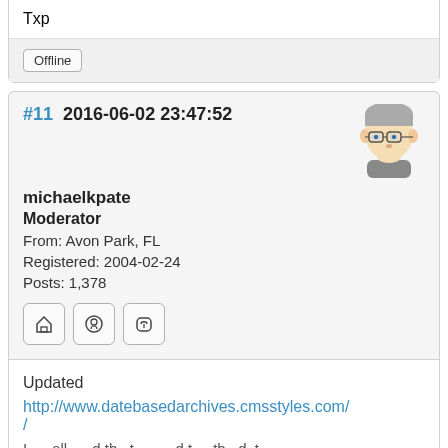Txp
Offline
#11  2016-06-02 23:47:52
[Figure (illustration): Cartoon avatar of a person with glasses and grey hair]
michaelkpate
Moderator
From: Avon Park, FL
Registered: 2004-02-24
Posts: 1,378
[Figure (other): Row of three icon buttons: home, github, mastodon]
Updated
http://www.datebasedarchives.cmsstyles.com/
I __ all __ d th_ t__ __ d t__ th_ d_t_